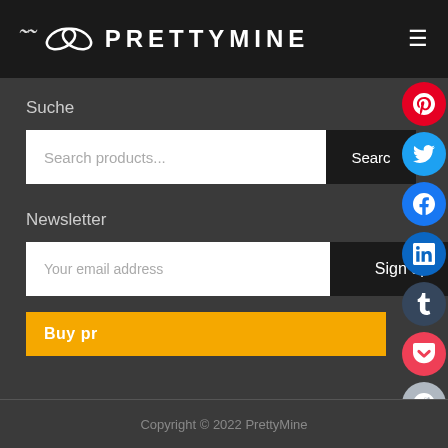PRETTYMINE
Suche
Search products...
Newsletter
Your email address
Sign up
Buy pr...
Copyright © 2022 PrettyMine